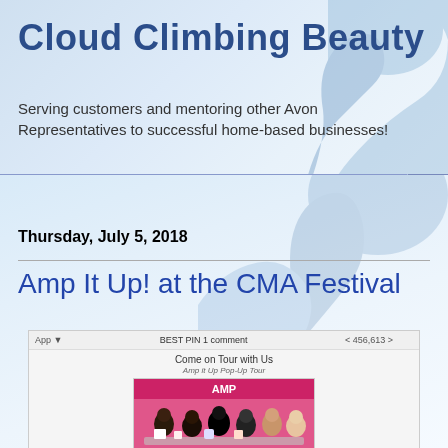Cloud Climbing Beauty
Serving customers and mentoring other Avon Representatives to successful home-based businesses!
Shop my eStore
Thursday, July 5, 2018
Amp It Up! at the CMA Festival
[Figure (screenshot): Screenshot of a webpage showing 'Come on Tour with Us - Amp it Up Pop-Up Tour' with a photo of a group of women at a pink tent event]